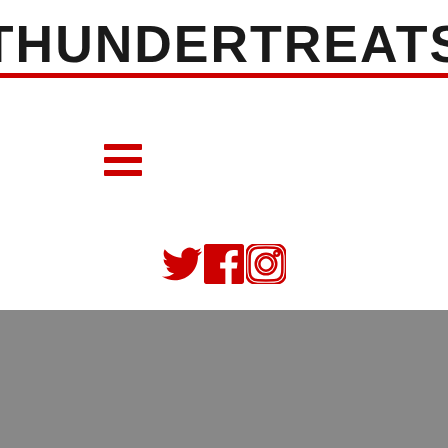THUNDERTREATS
[Figure (other): Hamburger menu icon with three horizontal red bars]
[Figure (other): Social media icons for Twitter, Facebook, and Instagram in red]
[Figure (other): Gray background section at bottom of page]